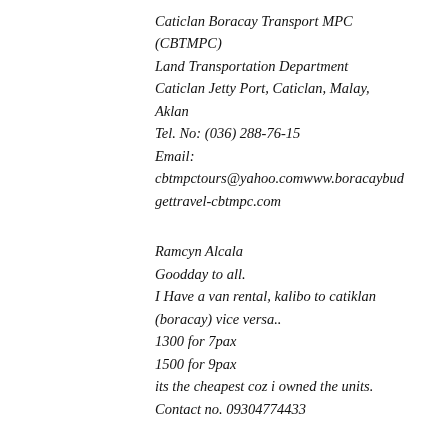Caticlan Boracay Transport MPC (CBTMPC)
Land Transportation Department
Caticlan Jetty Port, Caticlan, Malay, Aklan
Tel. No: (036) 288-76-15
Email: cbtmpctours@yahoo.comwwwboracaybudgettravel-cbtmpc.com
Ramcyn Alcala
Goodday to all.
I Have a van rental, kalibo to catiklan (boracay) vice versa..
1300 for 7pax
1500 for 9pax
its the cheapest coz i owned the units.
Contact no. 09304774433
Please note that I am not in any way